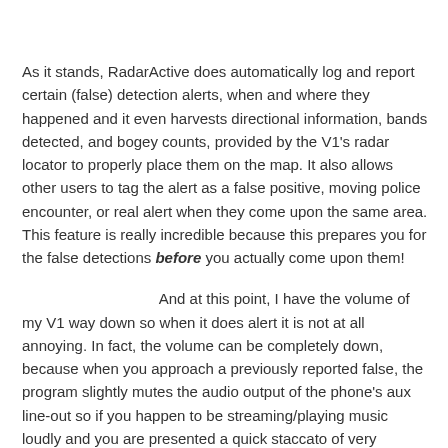As it stands, RadarActive does automatically log and report certain (false) detection alerts, when and where they happened and it even harvests directional information, bands detected, and bogey counts, provided by the V1's radar locator to properly place them on the map. It also allows other users to tag the alert as a false positive, moving police encounter, or real alert when they come upon the same area. This feature is really incredible because this prepares you for the false detections before you actually come upon them!
And at this point, I have the volume of my V1 way down so when it does alert it is not at all annoying. In fact, the volume can be completely down, because when you approach a previously reported false, the program slightly mutes the audio output of the phone's aux line-out so if you happen to be streaming/playing music loudly and you are presented a quick staccato of very pleasant tones while displaying distance countdowns to the